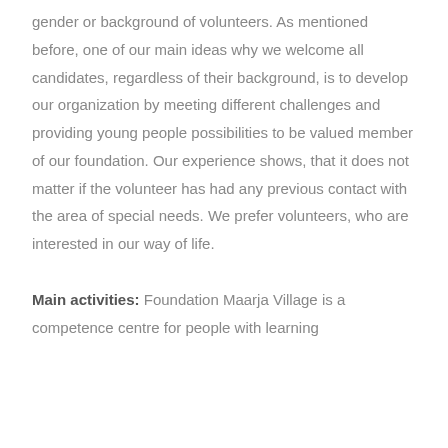gender or background of volunteers. As mentioned before, one of our main ideas why we welcome all candidates, regardless of their background, is to develop our organization by meeting different challenges and providing young people possibilities to be valued member of our foundation. Our experience shows, that it does not matter if the volunteer has had any previous contact with the area of special needs. We prefer volunteers, who are interested in our way of life.
Main activities: Foundation Maarja Village is a competence centre for people with learning